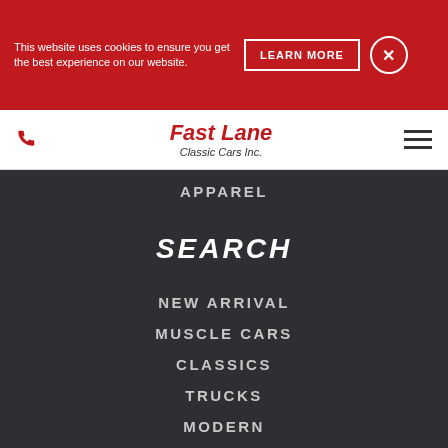This website uses cookies to ensure you get the best experience on our website.
LEARN MORE
[Figure (logo): Fast Lane Classic Cars Inc. logo in red italic script]
APPAREL
SEARCH
NEW ARRIVAL
MUSCLE CARS
CLASSICS
TRUCKS
MODERN
MOTORCYCLES